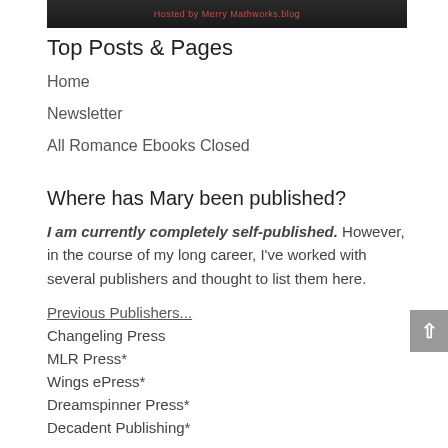[Figure (photo): Dark banner image with red/pink text at the top of the page]
Top Posts & Pages
Home
Newsletter
All Romance Ebooks Closed
Where has Mary been published?
I am currently completely self-published. However, in the course of my long career, I've worked with several publishers and thought to list them here.
Previous Publishers...
Changeling Press
MLR Press*
Wings ePress*
Dreamspinner Press*
Decadent Publishing*